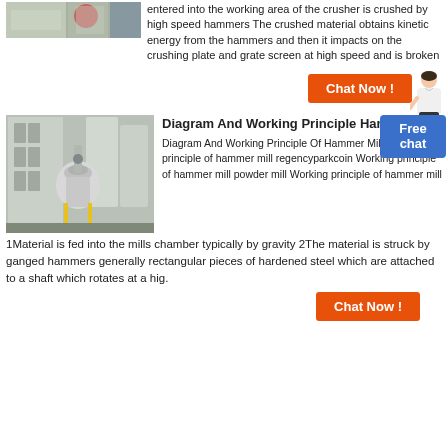[Figure (photo): Industrial crusher/mill equipment, partial view at top of page]
entered into the working area of the crusher is crushed by high speed hammers The crushed material obtains kinetic energy from the hammers and then it impacts on the crushing plate and grate screen at high speed and is broken
[Figure (other): Orange 'Chat Now!' button with customer service representative figure]
[Figure (photo): Industrial hammer mill / grinding mill equipment in a factory setting]
Diagram And Working Principle Hammer Mill
Diagram And Working Principle Of Hammer Mill Working principle of hammer mill regencyparkcoin Working principle of hammer mill powder mill Working principle of hammer mill
[Figure (other): Blue 'Free chat' button]
1Material is fed into the mills chamber typically by gravity 2The material is struck by ganged hammers generally rectangular pieces of hardened steel which are attached to a shaft which rotates at a hig.
[Figure (other): Orange 'Chat Now!' button at bottom]